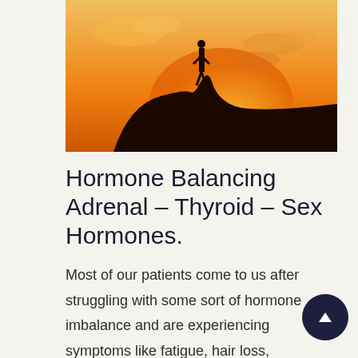[Figure (photo): Silhouette of a person standing on a rock against an orange sunset sky with clouds]
Hormone Balancing Adrenal – Thyroid – Sex Hormones.
Most of our patients come to us after struggling with some sort of hormone imbalance and are experiencing symptoms like fatigue, hair loss, menopause, hot flashes, low libido, PMS, poor sleep, PCOS, irregular cycles, weight gain...The list